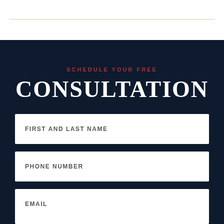SCHEDULE YOUR FREE
CONSULTATION
FIRST AND LAST NAME
PHONE NUMBER
EMAIL